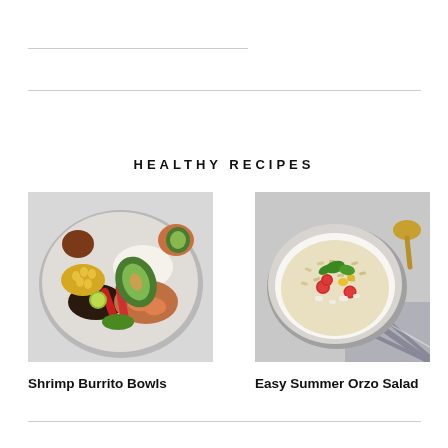HEALTHY RECIPES
[Figure (photo): Overhead photo of a shrimp burrito bowl with avocado, rice, corn, black beans, shrimp, and red peppers on a gray plate]
Shrimp Burrito Bowls
[Figure (photo): Overhead photo of an easy summer orzo salad with cherry tomatoes, feta, corn, and herbs in a white bowl on a gray background with a plaid cloth]
Easy Summer Orzo Salad